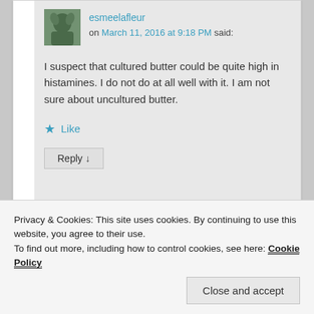esmeelafleur
on March 11, 2016 at 9:18 PM said:
I suspect that cultured butter could be quite high in histamines. I do not do at all well with it. I am not sure about uncultured butter.
Like
Reply ↓
Privacy & Cookies: This site uses cookies. By continuing to use this website, you agree to their use.
To find out more, including how to control cookies, see here: Cookie Policy
Close and accept